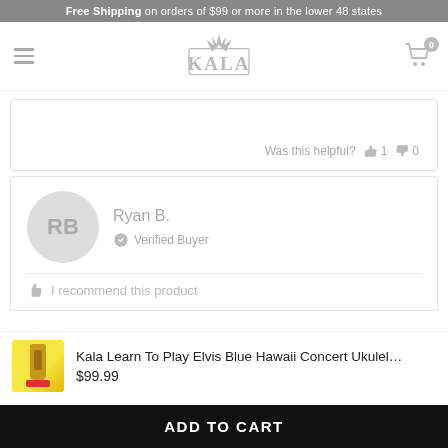Free Shipping on orders of $99 or more in the lower 48 states
[Figure (logo): Kala brand logo with stylized text and leaf/spike graphic, gray toned]
Was this helpful? 1 0
Ryan B.
Verified Buyer
I recommend this product
Kala Learn To Play Elvis Blue Hawaii Concert Ukulel... $99.99
ADD TO CART